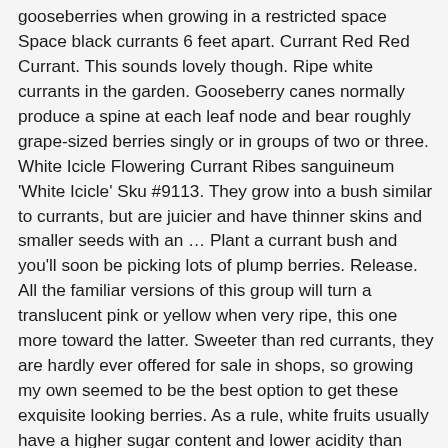gooseberries when growing in a restricted space Space black currants 6 feet apart. Currant Red Red Currant. This sounds lovely though. Ripe white currants in the garden. Gooseberry canes normally produce a spine at each leaf node and bear roughly grape-sized berries singly or in groups of two or three. White Icicle Flowering Currant Ribes sanguineum 'White Icicle' Sku #9113. They grow into a bush similar to currants, but are juicier and have thinner skins and smaller seeds with an … Plant a currant bush and you'll soon be picking lots of plump berries. Release. All the familiar versions of this group will turn a translucent pink or yellow when very ripe, this one more toward the latter. Sweeter than red currants, they are hardly ever offered for sale in shops, so growing my own seemed to be the best option to get these exquisite looking berries. As a rule, white fruits usually have a higher sugar content and lower acidity than their colored counterparts, and White currants are no exception. Currants are a popular fruit among northern Europeans. Ever since I watched the Victorian Kitchen Garden DVD I have had a